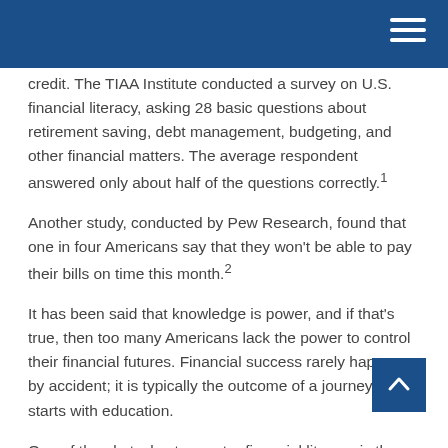credit. The TIAA Institute conducted a survey on U.S. financial literacy, asking 28 basic questions about retirement saving, debt management, budgeting, and other financial matters. The average respondent answered only about half of the questions correctly.1
Another study, conducted by Pew Research, found that one in four Americans say that they won't be able to pay their bills on time this month.2
It has been said that knowledge is power, and if that's true, then too many Americans lack the power to control their financial futures. Financial success rarely happens by accident; it is typically the outcome of a journey that starts with education.
One of the obstacles to greater financial literacy is the so-called "Lake Wobegon effect." In other words, we all